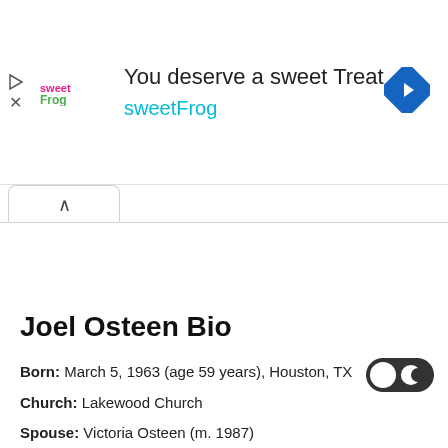[Figure (screenshot): Advertisement banner for sweetFrog frozen yogurt. Shows sweetFrog logo on left, text 'You deserve a sweet Treat' and 'sweetFrog' in cyan, blue navigation diamond icon on right, play and close icons on far left.]
Joel Osteen Bio
Born: March 5, 1963 (age 59 years), Houston, TX
Church: Lakewood Church
Spouse: Victoria Osteen (m. 1987)